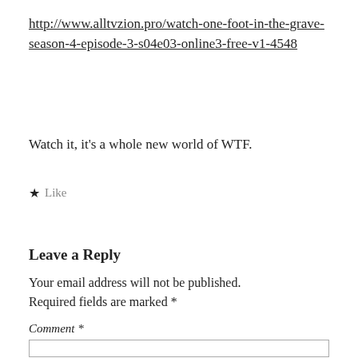http://www.alltvzion.pro/watch-one-foot-in-the-grave-season-4-episode-3-s04e03-online3-free-v1-4548
Watch it, it’s a whole new world of WTF.
★ Like
Leave a Reply
Your email address will not be published. Required fields are marked *
Comment *